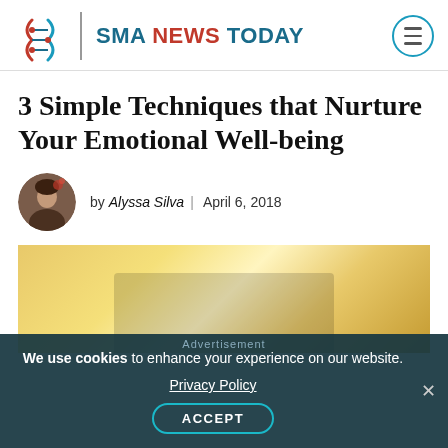SMA NEWS TODAY
3 Simple Techniques that Nurture Your Emotional Well-being
by Alyssa Silva | April 6, 2018
[Figure (photo): Article header image with warm golden/yellow tones, possibly a sunrise or light effect, with a dark silhouette at the bottom center]
Advertisement
We use cookies to enhance your experience on our website. Privacy Policy ACCEPT